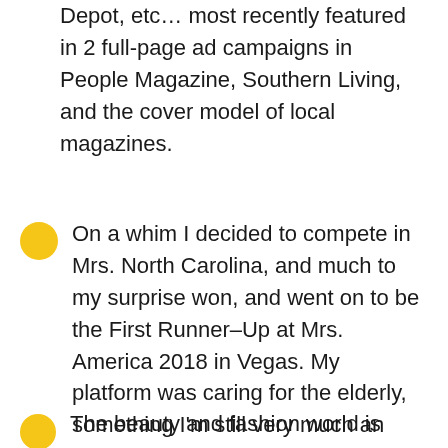Depot, etc… most recently featured in 2 full-page ad campaigns in People Magazine, Southern Living, and the cover model of local magazines.
On a whim I decided to compete in Mrs. North Carolina, and much to my surprise won, and went on to be the First Runner–Up at Mrs. America 2018 in Vegas. My platform was caring for the elderly, something I'm still very much an advocate of
The beauty and fashion world is